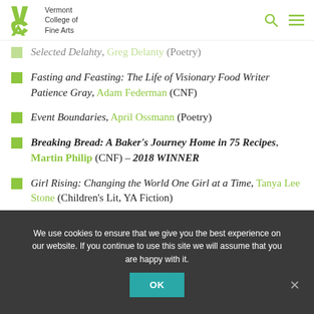Vermont College of Fine Arts
Selected Delahty, Greg Delanty (Poetry)
Fasting and Feasting: The Life of Visionary Food Writer Patience Gray, Adam Federman (CNF)
Event Boundaries, April Ossmann (Poetry)
Breaking Bread: A Baker's Journey Home in 75 Recipes, Martin Philip (CNF) – 2018 WINNER
Girl Rising: Changing the World One Girl at a Time, Tanya Lee Stone (Children's Lit, YA Fiction)
We use cookies to ensure that we give you the best experience on our website. If you continue to use this site we will assume that you are happy with it.